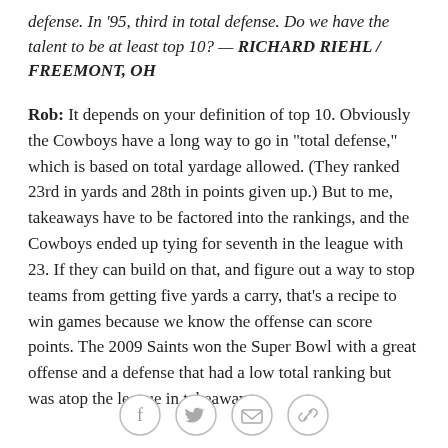defense. In '95, third in total defense. Do we have the talent to be at least top 10? — RICHARD RIEHL / FREEMONT, OH
Rob: It depends on your definition of top 10. Obviously the Cowboys have a long way to go in "total defense," which is based on total yardage allowed. (They ranked 23rd in yards and 28th in points given up.) But to me, takeaways have to be factored into the rankings, and the Cowboys ended up tying for seventh in the league with 23. If they can build on that, and figure out a way to stop teams from getting five yards a carry, that's a recipe to win games because we know the offense can score points. The 2009 Saints won the Super Bowl with a great offense and a defense that had a low total ranking but was atop the league in takeaways.
[Figure (other): Social sharing icons: Facebook, Twitter, Email, Link]